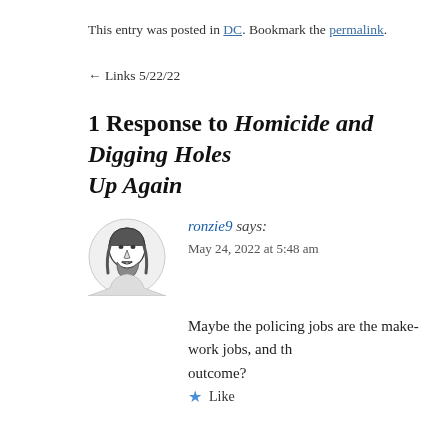This entry was posted in DC. Bookmark the permalink.
← Links 5/22/22
1 Response to Homicide and Digging Holes Up Again
[Figure (illustration): Avatar illustration of a man with a beard and long hair, black and white line drawing]
ronzie9 says: May 24, 2022 at 5:48 am
Maybe the policing jobs are the make-work jobs, and th… outcome?
Like